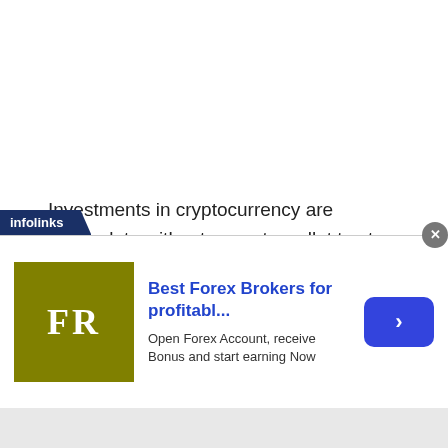Investments in cryptocurrency are incomplete without a crypto wallet to store your assets. A good crypto wallet will house your coins and provide adequate security that will be pretty difficult for external invasion. The wallet could be either online or offline storage.
[Figure (infographic): Infolinks advertisement banner for Forex Brokers featuring logo 'FR' on olive/gold background, headline 'Best Forex Brokers for profitabl...' in blue, subtitle 'Open Forex Account, receive Bonus and start earning Now', blue arrow button, and close button.]